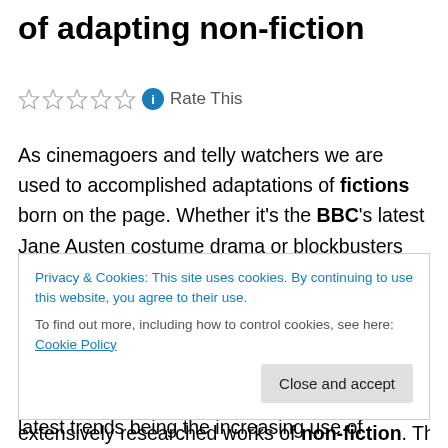of adapting non-fiction
Rate This
As cinemagoers and telly watchers we are used to accomplished adaptations of fictions born on the page. Whether it's the BBC's latest Jane Austen costume drama or blockbusters like the Harry Potter series, we consume creations transformed from the page to the screen all the time. We are also accustomed to the fictionalisation and cinematic imaginings of happenings from history, with one of film's latest trends being the increasing use of exciting
Privacy & Cookies: This site uses cookies. By continuing to use this website, you agree to their use. To find out more, including how to control cookies, see here: Cookie Policy
Close and accept
extensively researched works of non-fiction. There is of